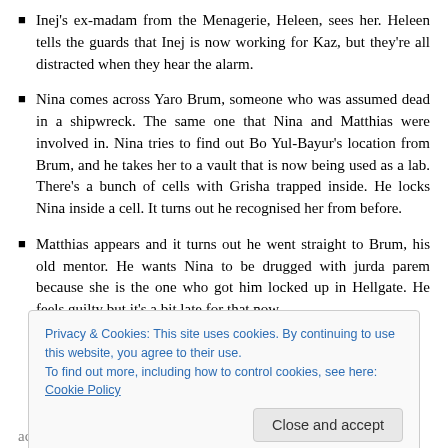Inej's ex-madam from the Menagerie, Heleen, sees her. Heleen tells the guards that Inej is now working for Kaz, but they're all distracted when they hear the alarm.
Nina comes across Yaro Brum, someone who was assumed dead in a shipwreck. The same one that Nina and Matthias were involved in. Nina tries to find out Bo Yul-Bayur's location from Brum, and he takes her to a vault that is now being used as a lab. There's a bunch of cells with Grisha trapped inside. He locks Nina inside a cell. It turns out he recognised her from before.
Matthias appears and it turns out he went straight to Brum, his old mentor. He wants Nina to be drugged with jurda parem because she is the one who got him locked up in Hellgate. He feels guilty but it's a bit late for that now.
Privacy & Cookies: This site uses cookies. By continuing to use this website, you agree to their use. To find out more, including how to control cookies, see here: Cookie Policy
actually the plan all along. Matthias takes Brum's key, locks him